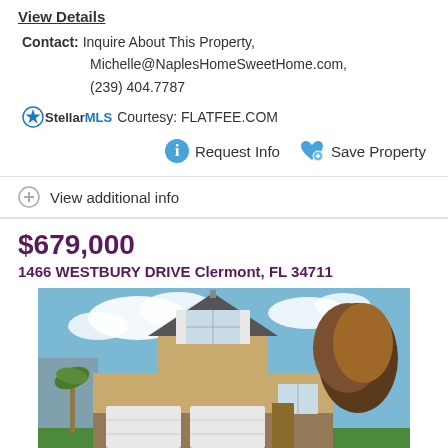View Details
Contact: Inquire About This Property, Michelle@NaplesHomeSweetHome.com, (239) 404.7787
StellarMLS Courtesy: FLATFEE.COM
Request Info  Save Property
View additional info
$679,000
1466 WESTBURY DRIVE Clermont, FL 34711
[Figure (photo): Two-story tan/beige residential home with double garage, stone accents, and large tree in background under blue sky with clouds.]